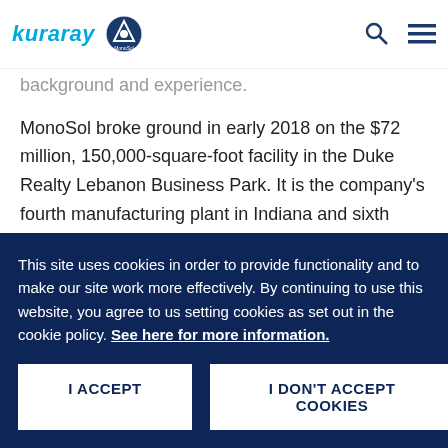kuraray [logo] MonoSol [logo]
in the job fair will have the opportunity to explore positions, meet with recruiters, and share their background and experience.
MonoSol broke ground in early 2018 on the $72 million, 150,000-square-foot facility in the Duke Realty Lebanon Business Park. It is the company's fourth manufacturing plant in Indiana and sixth globally.
MonoSol
This site uses cookies in order to provide functionality and to make our site work more effectively. By continuing to use this website, you agree to us setting cookies as set out in the cookie policy. See here for more information.
I ACCEPT
I DON'T ACCEPT COOKIES